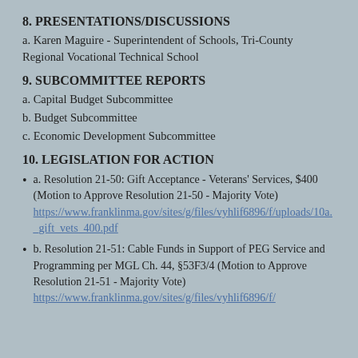8. PRESENTATIONS/DISCUSSIONS
a. Karen Maguire - Superintendent of Schools, Tri-County Regional Vocational Technical School
9. SUBCOMMITTEE REPORTS
a. Capital Budget Subcommittee
b. Budget Subcommittee
c. Economic Development Subcommittee
10. LEGISLATION FOR ACTION
a. Resolution 21-50: Gift Acceptance - Veterans' Services, $400 (Motion to Approve Resolution 21-50 - Majority Vote)
https://www.franklinma.gov/sites/g/files/vyhlif6896/f/uploads/10a._gift_vets_400.pdf
b. Resolution 21-51: Cable Funds in Support of PEG Service and Programming per MGL Ch. 44, §53F3/4 (Motion to Approve Resolution 21-51 - Majority Vote)
https://www.franklinma.gov/sites/g/files/vyhlif6896/f/